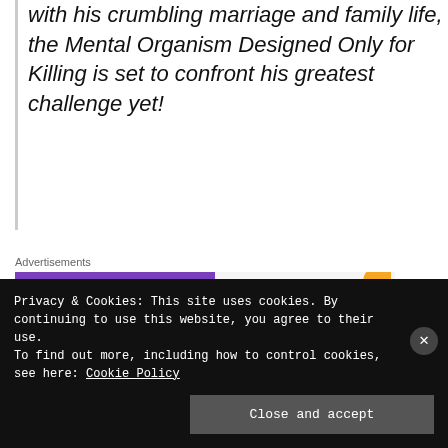with his crumbling marriage and family life, the Mental Organism Designed Only for Killing is set to confront his greatest challenge yet!
[Figure (screenshot): WooCommerce advertisement banner: purple left side with WOO COMMERCE logo and teal arrow, light right side with text 'How to start selling subscriptions online' and decorative orange and blue leaf shapes]
Advertisements
Privacy & Cookies: This site uses cookies. By continuing to use this website, you agree to their use.
To find out more, including how to control cookies, see here: Cookie Policy
Close and accept